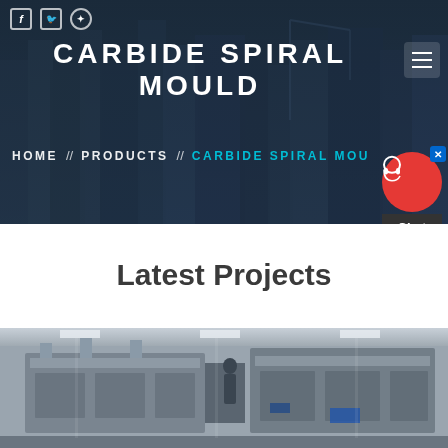CARBIDE SPIRAL MOULD
HOME // PRODUCTS // CARBIDE SPIRAL MOULD
Latest Projects
[Figure (photo): Industrial machinery in a factory or construction setting, showing large mechanical equipment with metal structures and conveyor-like components.]